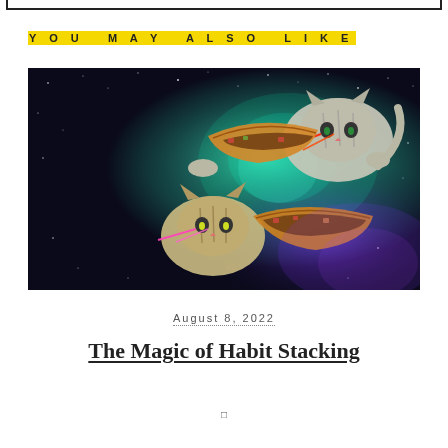YOU MAY ALSO LIKE
[Figure (photo): Surreal internet meme-style image showing two cats with laser eyes posed with tacos against a colorful space/galaxy background with stars and glowing nebula in teal and purple tones.]
August 8, 2022
The Magic of Habit Stacking